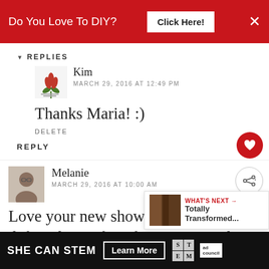[Figure (screenshot): Red advertisement banner at top: 'Do You Love To DIY?' with 'Click Here!' button and X close button]
REPLIES
Kim
MARCH 29, 2016 AT 12:49 PM
Thanks Maria! :)
DELETE
REPLY
Melanie
MARCH 29, 2016 AT 10:00 AM
Love your new shower cu... definitely perfect for spring and
[Figure (screenshot): WHAT'S NEXT overlay with image and 'Totally Transformed...' text]
[Figure (screenshot): Bottom advertisement: SHE CAN STEM - Learn More, ad council badge]